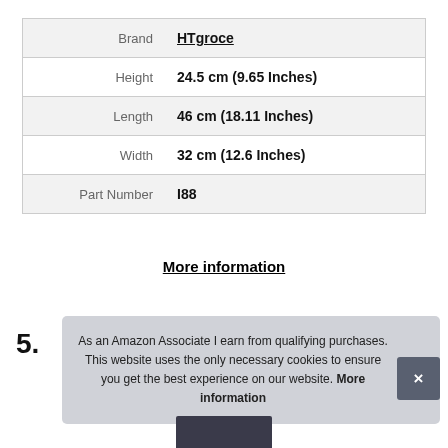|  |  |
| --- | --- |
| Brand | HTgroce |
| Height | 24.5 cm (9.65 Inches) |
| Length | 46 cm (18.11 Inches) |
| Width | 32 cm (12.6 Inches) |
| Part Number | I88 |
More information
5.
As an Amazon Associate I earn from qualifying purchases. This website uses the only necessary cookies to ensure you get the best experience on our website. More information